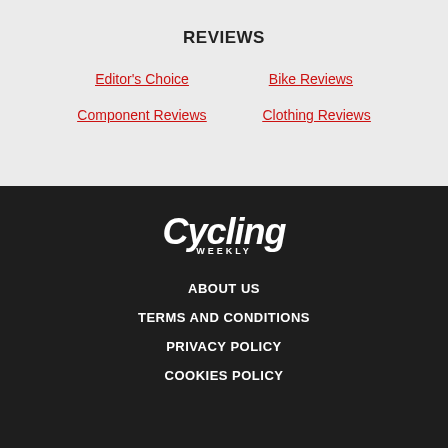REVIEWS
Editor's Choice
Bike Reviews
Component Reviews
Clothing Reviews
[Figure (logo): Cycling Weekly logo in white italic bold text on dark background]
ABOUT US
TERMS AND CONDITIONS
PRIVACY POLICY
COOKIES POLICY